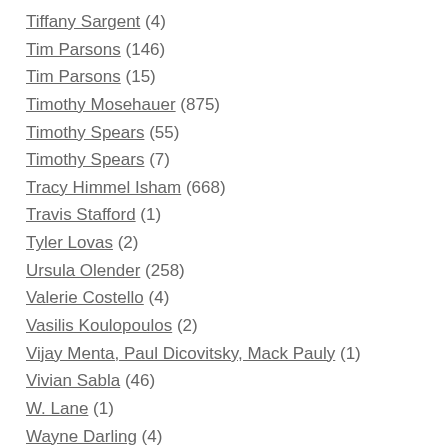Tiffany Sargent (4)
Tim Parsons (146)
Tim Parsons (15)
Timothy Mosehauer (875)
Timothy Spears (55)
Timothy Spears (7)
Tracy Himmel Isham (668)
Travis Stafford (1)
Tyler Lovas (2)
Ursula Olender (258)
Valerie Costello (4)
Vasilis Koulopoulos (2)
Vijay Menta, Paul Dicovitsky, Mack Pauly (1)
Vivian Sabla (46)
W. Lane (1)
Wayne Darling (4)
Wendy Shook (16)
William Clarke (1)
William DiGravio (27)